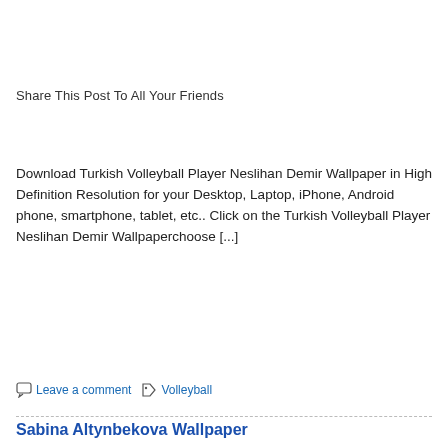Share This Post To All Your Friends
Download Turkish Volleyball Player Neslihan Demir Wallpaper in High Definition Resolution for your Desktop, Laptop, iPhone, Android phone, smartphone, tablet, etc.. Click on the Turkish Volleyball Player Neslihan Demir Wallpaperchoose [...]
» Read more
Leave a comment  Volleyball
Sabina Altynbekova Wallpaper